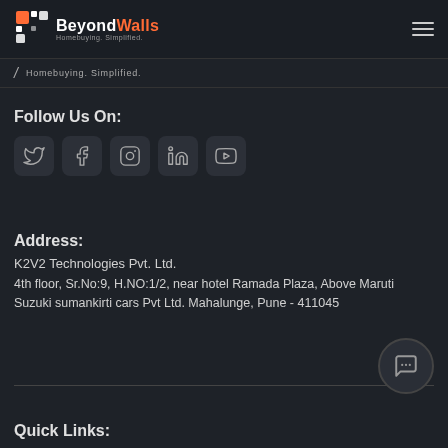[Figure (logo): BeyondWalls logo with grid icon and tagline 'Homebuying. Simplified.' on dark header bar]
Homebuying. Simplified.
Follow Us On:
[Figure (infographic): Social media icons: Twitter, Facebook, Instagram, LinkedIn, YouTube — dark square rounded icons]
Address:
K2V2 Technologies Pvt. Ltd.
4th floor, Sr.No:9, H.NO:1/2, near hotel Ramada Plaza, Above Maruti Suzuki sumankirti cars Pvt Ltd. Mahalunge, Pune - 411045
Quick Links: